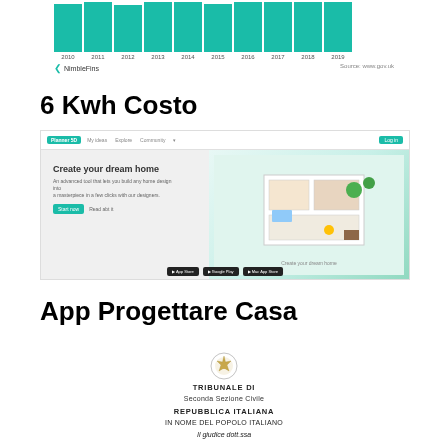[Figure (bar-chart): NimbleFins bar chart]
NimbleFins  Source: www.gov.uk
6 Kwh Costo
[Figure (screenshot): Screenshot of a home design app website showing 'Create your dream home' with a 3D room render and app store badges]
App Progettare Casa
[Figure (logo): Italian Republic emblem]
TRIBUNALE DI
Seconda Sezione Civile
REPUBBLICA ITALIANA
IN NOME DEL POPOLO ITALIANO
Il giudice dott.ssa